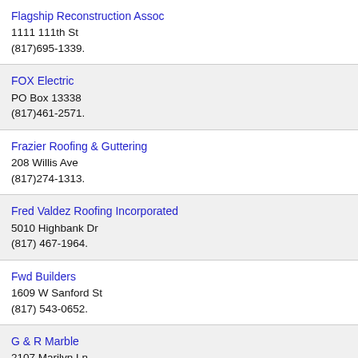Flagship Reconstruction Assoc
1111 111th St
(817)695-1339.
FOX Electric
PO Box 13338
(817)461-2571.
Frazier Roofing & Guttering
208 Willis Ave
(817)274-1313.
Fred Valdez Roofing Incorporated
5010 Highbank Dr
(817) 467-1964.
Fwd Builders
1609 W Sanford St
(817) 543-0652.
G & R Marble
2107 Marilyn Ln
(817)801-7171.